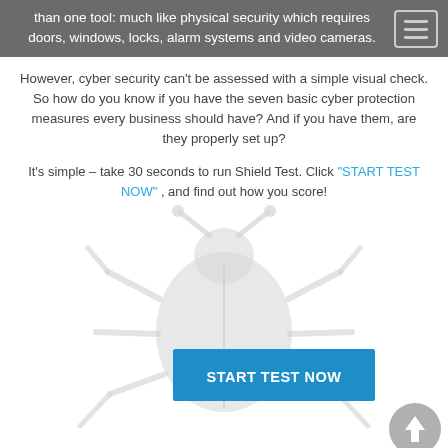than one tool: much like physical security which requires doors, windows, locks, alarm systems and video cameras.
However, cyber security can't be assessed with a simple visual check. So how do you know if you have the seven basic cyber protection measures every business should have? And if you have them, are they properly set up?
It's simple – take 30 seconds to run Shield Test. Click "START TEST NOW" , and find out how you score!
[Figure (illustration): A light gray bug/beetle illustration with arms raised, serving as a background graphic. In the center is a blue 'START TEST NOW' button. A gray circular up-arrow button appears at the bottom right.]